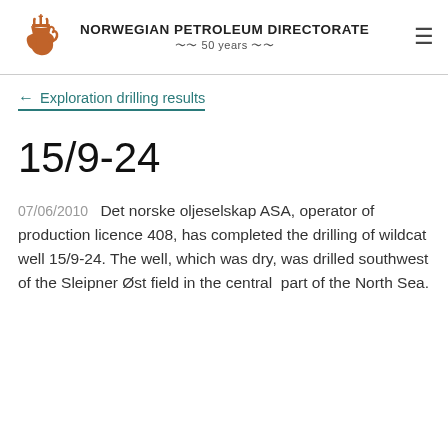NORWEGIAN PETROLEUM DIRECTORATE 50 years
← Exploration drilling results
15/9-24
07/06/2010  Det norske oljeselskap ASA, operator of production licence 408, has completed the drilling of wildcat well 15/9-24. The well, which was dry, was drilled southwest of the Sleipner Øst field in the central  part of the North Sea.